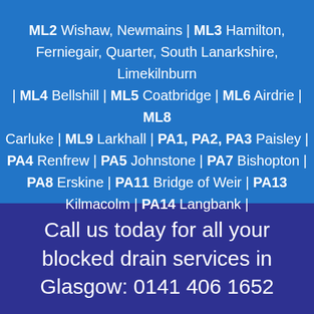ML2 Wishaw, Newmains | ML3 Hamilton, Ferniegair, Quarter, South Lanarkshire, Limekilnburn | ML4 Bellshill | ML5 Coatbridge | ML6 Airdrie | ML8 Carluke | ML9 Larkhall | PA1, PA2, PA3 Paisley | PA4 Renfrew | PA5 Johnstone | PA7 Bishopton | PA8 Erskine | PA11 Bridge of Weir | PA13 Kilmacolm | PA14 Langbank |
Call us today for all your blocked drain services in Glasgow: 0141 406 1652